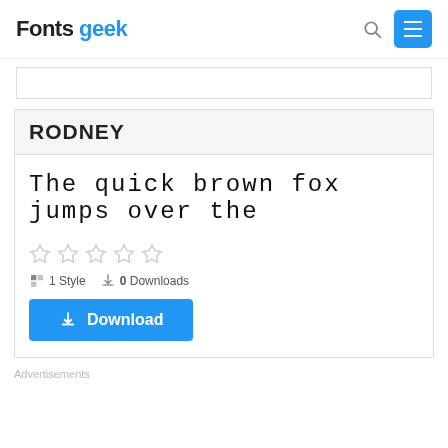Fontsgeek
[Figure (screenshot): Ad placeholder box]
RODNEY
The quick brown fox jumps over the
[Figure (other): Five empty star rating icons]
1 Style   0 Downloads
Download
Advertisements